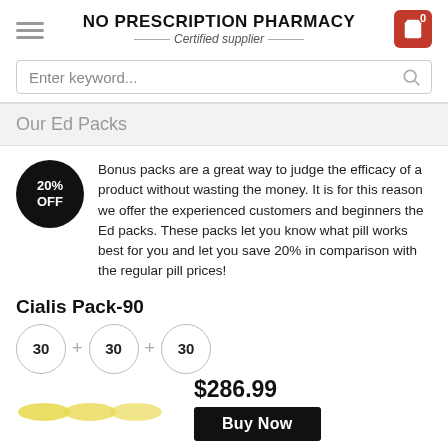NO PRESCRIPTION PHARMACY
Certified supplier
Enter keyword...
Our Ed Packs
Bonus packs are a great way to judge the efficacy of a product without wasting the money. It is for this reason we offer the experienced customers and beginners the Ed packs. These packs let you know what pill works best for you and let you save 20% in comparison with the regular pill prices!
Cialis Pack-90
30 + 30 + 30
$286.99
Buy Now
Cialis Pack is a combination of three most potent varieties of Cialis: regular Cialis 20 mg, Cialis Super Active 20mg and Cialis Professional 20 mg. All three work by preventing premature outflow of blood from the penile tissues, prolonging erections and making them harder. Cialis